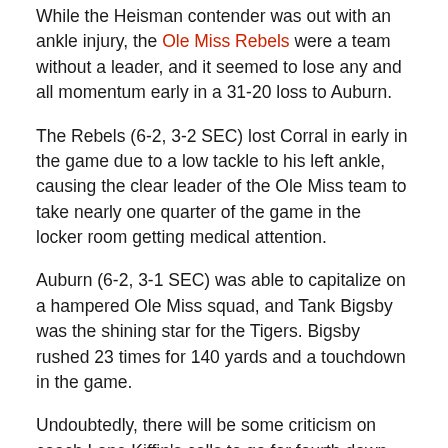While the Heisman contender was out with an ankle injury, the Ole Miss Rebels were a team without a leader, and it seemed to lose any and all momentum early in a 31-20 loss to Auburn.
The Rebels (6-2, 3-2 SEC) lost Corral in early in the game due to a low tackle to his left ankle, causing the clear leader of the Ole Miss team to take nearly one quarter of the game in the locker room getting medical attention.
Auburn (6-2, 3-1 SEC) was able to capitalize on a hampered Ole Miss squad, and Tank Bigsby was the shining star for the Tigers. Bigsby rushed 23 times for 140 yards and a touchdown in the game.
Undoubtedly, there will be some criticism on coach Lane Kiffin's calls to go for fourth down conversions